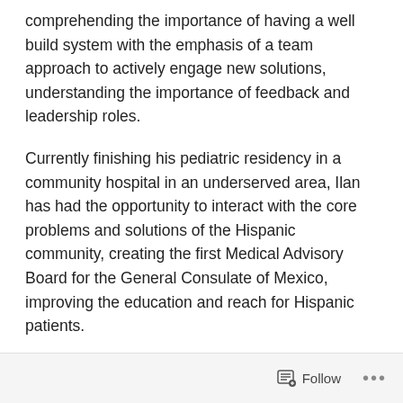comprehending the importance of having a well build system with the emphasis of a team approach to actively engage new solutions, understanding the importance of feedback and leadership roles.
Currently finishing his pediatric residency in a community hospital in an underserved area, Ilan has had the opportunity to interact with the core problems and solutions of the Hispanic community, creating the first Medical Advisory Board for the General Consulate of Mexico, improving the education and reach for Hispanic patients.
PLEASE DO CONTACT ME FOR FURTHER INFORMATION:
Follow ...